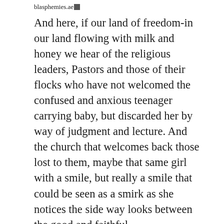blasphemies.ae
And here, if our land of freedom-in our land flowing with milk and honey we hear of the religious leaders, Pastors and those of their flocks who have not welcomed the confused and anxious teenager carrying baby, but discarded her by way of judgment and lecture. And the church that welcomes back those lost to them, maybe that same girl with a smile, but really a smile that could be seen as a smirk as she notices the side way looks between the good and faithful.
The dictionary defines theology as “the systematic study of the existence and nature of the divine and its relationship to and influence